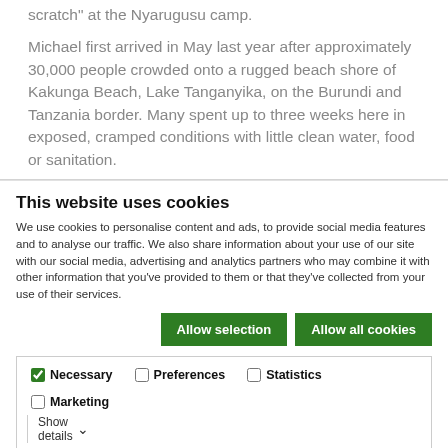scratch" at the Nyarugusu camp.
Michael first arrived in May last year after approximately 30,000 people crowded onto a rugged beach shore of Kakunga Beach, Lake Tanganyika, on the Burundi and Tanzania border. Many spent up to three weeks here in exposed, cramped conditions with little clean water, food or sanitation.
This website uses cookies
We use cookies to personalise content and ads, to provide social media features and to analyse our traffic. We also share information about your use of our site with our social media, advertising and analytics partners who may combine it with other information that you've provided to them or that they've collected from your use of their services.